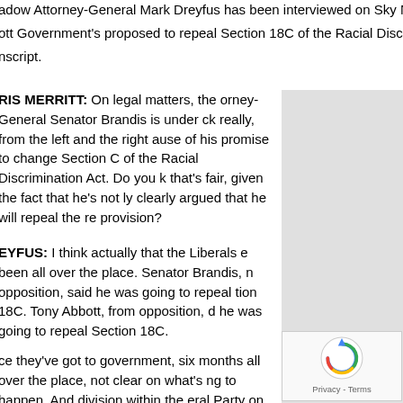adow Attorney-General Mark Dreyfus has been interviewed on Sky News on his ott Government's proposed to repeal Section 18C of the Racial Discrimination nscript.
RIS MERRITT: On legal matters, the orney-General Senator Brandis is under ck really, from the left and the right ause of his promise to change Section C of the Racial Discrimination Act. Do you k that's fair, given the fact that he's not ly clearly argued that he will repeal the re provision?
[Figure (photo): Photo of Mark Dreyfus with grey background]
EYFUS: I think actually that the Liberals e been all over the place. Senator Brandis, n opposition, said he was going to repeal tion 18C. Tony Abbott, from opposition, d he was going to repeal Section 18C.
ce they've got to government, six months all over the place, not clear on what's ng to happen. And division within the eral Party on it, we've got Craig Laundy week, the new Member for Reid, Ken att, the Member for Hasluck, at the weekend, saying leave this provision exact
Mark Dreyf